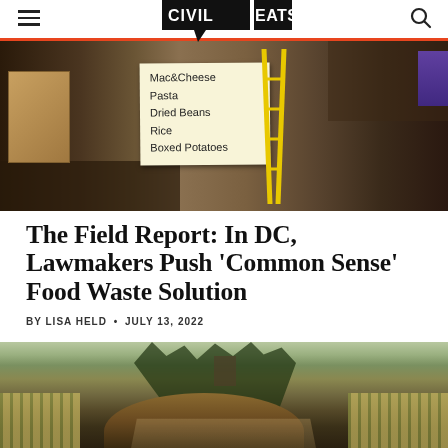CIVIL EATS
[Figure (photo): Food bank table with handwritten sign listing: Mac&Cheese, Pasta, Dried Beans, Rice, Boxed Potatoes. Yellow ladder visible in background.]
The Field Report: In DC, Lawmakers Push ‘Common Sense’ Food Waste Solution
BY LISA HELD • JULY 13, 2022
[Figure (photo): Vineyard landscape with large compost pile in foreground, rows of vines, tall trees, and a building in the background.]